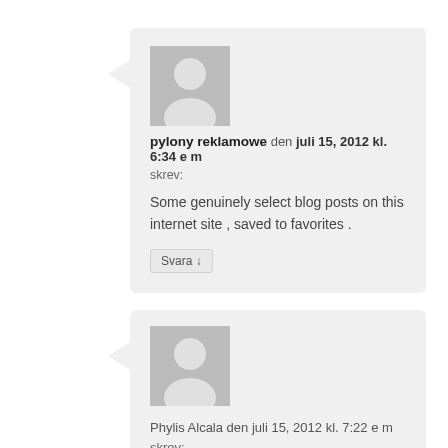[Figure (illustration): Gray placeholder avatar icon (person silhouette) for comment 1]
pylony reklamowe den juli 15, 2012 kl. 6:34 e m skrev:
Some genuinely select blog posts on this internet site , saved to favorites .
Svara ↓
[Figure (illustration): Gray placeholder avatar icon (person silhouette) for comment 2]
Phylis Alcala den juli 15, 2012 kl. 7:22 e m skrev:
Dead pent written content, Really enjoyed studying.